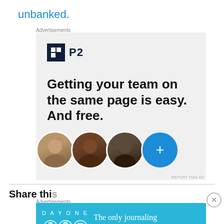unbanked.
Advertisements
[Figure (other): P2 advertisement: logo with dark square icon and 'P2' text, headline 'Getting your team on the same page is easy. And free.' with three circular person avatars and a blue plus button]
REPORT THIS AD
Advertisements
[Figure (other): Day One journaling app advertisement: blue background with 'DAY ONE' text, icons, and tagline 'The only journaling app you'll ever need.']